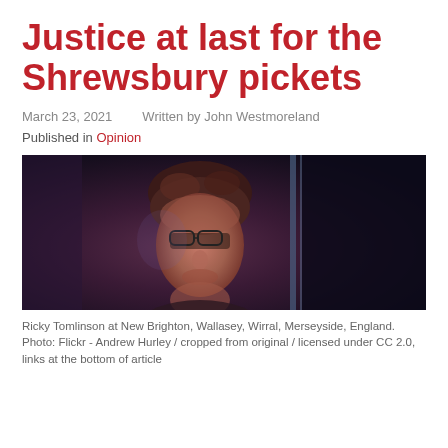Justice at last for the Shrewsbury pickets
March 23, 2021    Written by John Westmoreland
Published in Opinion
[Figure (photo): Photo of Ricky Tomlinson at New Brighton, Wallasey, Wirral, Merseyside, England. A person with glasses and short hair photographed against a dark purple/blue background with vertical light streaks.]
Ricky Tomlinson at New Brighton, Wallasey, Wirral, Merseyside, England. Photo: Flickr - Andrew Hurley / cropped from original / licensed under CC 2.0, links at the bottom of article